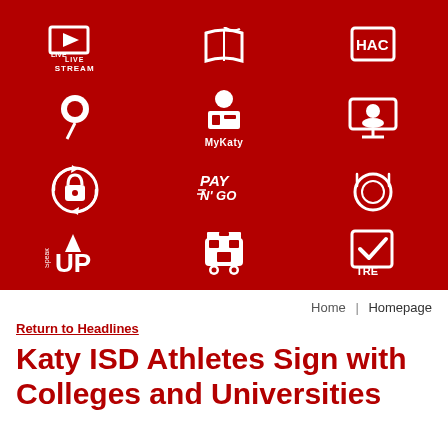[Figure (screenshot): Katy ISD website navigation banner on dark red background showing 9 icon grid: Live Stream, (book icon), HAC, (pin icon), MyKaty, (online learning icon), (lock/password icon), Pay N Go, (food/plate icon), Speak UP, (school bus icon), TRE checkbox icon]
Home | Homepage
Return to Headlines
Katy ISD Athletes Sign with Colleges and Universities